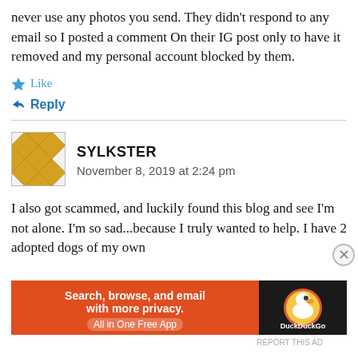never use any photos you send. They didn't respond to any email so I posted a comment On their IG post only to have it removed and my personal account blocked by them.
★ Like
↳ Reply
SYLKSTER
November 8, 2019 at 2:24 pm
I also got scammed, and luckily found this blog and see I'm not alone. I'm so sad...because I truly wanted to help. I have 2 adopted dogs of my own
Advertisements
[Figure (infographic): DuckDuckGo advertisement banner: orange background with text 'Search, browse, and email with more privacy. All in One Free App' and DuckDuckGo duck logo on dark background.]